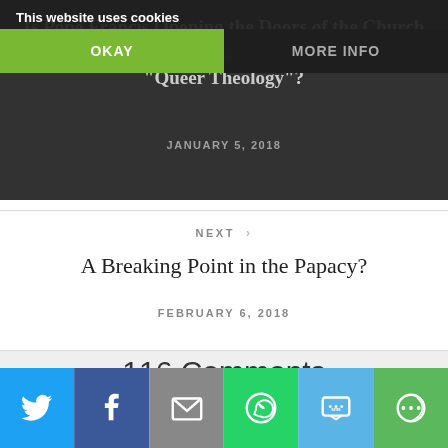Is Pope Francis Opening the Doors of the Church to "Queer Theology"?
JANUARY 5, 2018
This website uses cookies
OKAY
MORE INFO
NEXT >
A Breaking Point in the Papacy?
FEBRUARY 6, 2018
116 Comments
[Figure (other): Social sharing bar with Twitter, Facebook, Email, WhatsApp, SMS, and More buttons]